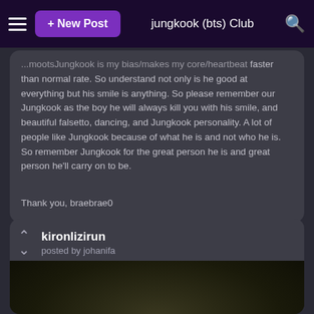jungkook (bts) Club
faster than normal rate. So understand not only is he good at everything but his smile is anything. So please remember our Jungkook as the boy he will always kill you with his smile, and beautiful falsetto, dancing, and Jungkook personality. A lot of people like Jungkook because of what he is and not who he is. So remember Jungkook for the great person he is and great person he'll carry on to be.

Thank you, braebrae0
kironlizirun
posted by johanifa
[Figure (photo): Dark photo showing a figure/silhouette in dim lighting]